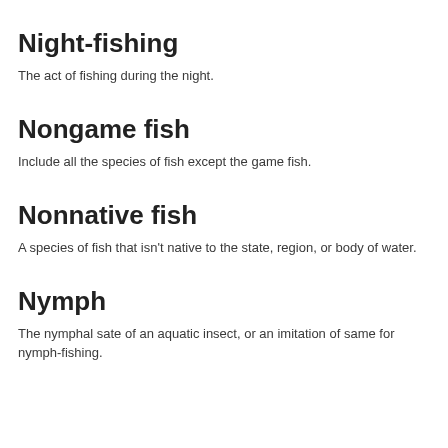Night-fishing
The act of fishing during the night.
Nongame fish
Include all the species of fish except the game fish.
Nonnative fish
A species of fish that isn't native to the state, region, or body of water.
Nymph
The nymphal sate of an aquatic insect, or an imitation of same for nymph-fishing.